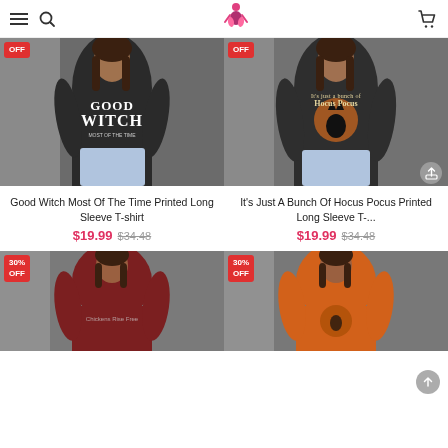Navigation bar with hamburger menu, search icon, logo, and cart icon
[Figure (photo): Woman wearing black long sleeve t-shirt with 'GOOD WITCH MOST OF THE TIME' print, with red discount badge top left]
Good Witch Most Of The Time Printed Long Sleeve T-shirt
$19.99  $34.48
[Figure (photo): Woman wearing black long sleeve t-shirt with 'It's just a bunch of Hocus Pocus' print featuring black cat, with red discount badge top left and share/back-to-top buttons]
It's Just A Bunch Of Hocus Pocus Printed Long Sleeve T-...
$19.99  $34.48
[Figure (photo): Woman wearing dark red long sleeve v-neck t-shirt with print, with 30% OFF badge top left]
[Figure (photo): Woman wearing orange long sleeve v-neck t-shirt with Halloween print, with 30% OFF badge top left]